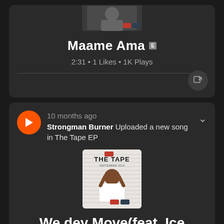Maame Ama E
2:31 • 1 Likes • 1K Plays
10 months ago
Strongman Burner Uploaded a new song in The Tape EP
[Figure (photo): Album cover for The Tape EP showing a person with hands on head, text THE TAPE]
We dey Move(feat. Ice